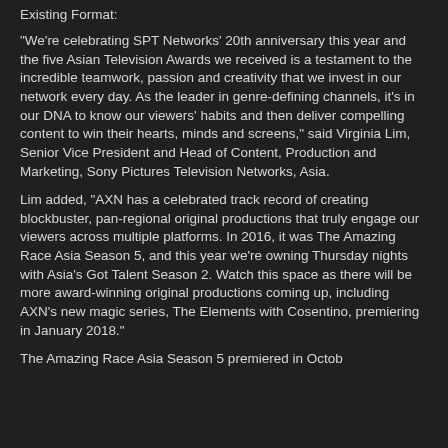Existing Format:
“We’re celebrating SPT Networks’ 20th anniversary this year and the five Asian Television Awards we received is a testament to the incredible teamwork, passion and creativity that we invest in our network every day. As the leader in genre-defining channels, it’s in our DNA to know our viewers’ habits and then deliver compelling content to win their hearts, minds and screens,” said Virginia Lim, Senior Vice President and Head of Content, Production and Marketing, Sony Pictures Television Networks, Asia.
Lim added, “AXN has a celebrated track record of creating blockbuster, pan-regional original productions that truly engage our viewers across multiple platforms. In 2016, it was The Amazing Race Asia Season 5, and this year we’re owning Thursday nights with Asia’s Got Talent Season 2. Watch this space as there will be more award-winning original productions coming up, including AXN’s new magic series, The Elements with Cosentino, premiering in January 2018.”
The Amazing Race Asia Season 5 premiered in Octob...